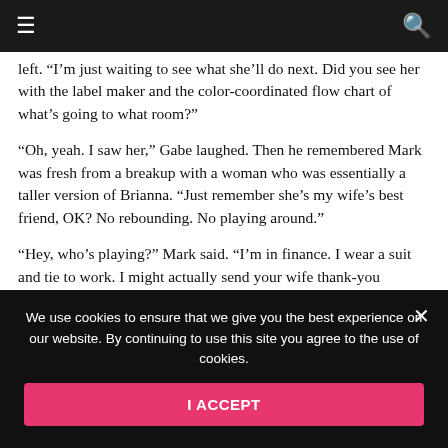≡ [navigation] [search]
left. “I’m just waiting to see what she’ll do next. Did you see her with the label maker and the color-coordinated flow chart of what’s going to what room?”
“Oh, yeah. I saw her,” Gabe laughed. Then he remembered Mark was fresh from a breakup with a woman who was essentially a taller version of Brianna. “Just remember she’s my wife’s best friend, OK? No rebounding. No playing around.”
“Hey, who’s playing?” Mark said. “I’m in finance. I wear a suit and tie to work. I might actually send your wife thank-you flowers before it’s over.”
“Whatever,” Gabe countered. “Just consider yourself warned.”
We use cookies to ensure that we give you the best experience on our website. By continuing to use this site you agree to the use of cookies.
I ACCEPT